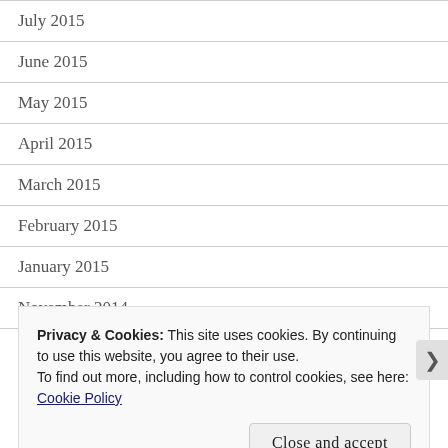July 2015
June 2015
May 2015
April 2015
March 2015
February 2015
January 2015
November 2014
September 2014
Privacy & Cookies: This site uses cookies. By continuing to use this website, you agree to their use.
To find out more, including how to control cookies, see here:
Cookie Policy
Close and accept